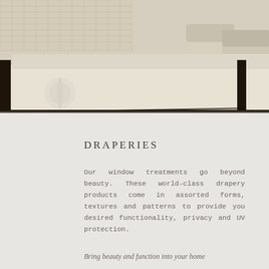[Figure (photo): Interior room photo showing a cream/white upholstered daybed with dark wood frame and two bolster pillows in the foreground, a woven cream bedspread visible at top left, and two cream armchairs with a dark round side table visible in the background on a light carpet.]
DRAPERIES
Our window treatments go beyond beauty. These world-class drapery products come in assorted forms, textures and patterns to provide you desired functionality, privacy and UV protection.
Bring beauty and function into your home